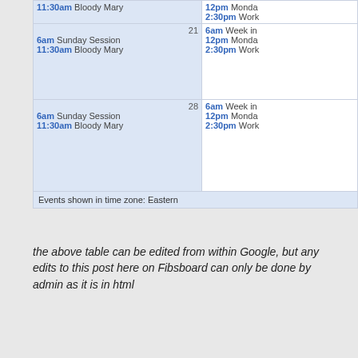| Sunday | Monday |
| --- | --- |
| 11:30am  Bloody Mary | 12pm Monda
2:30pm Work |
| 21
6am Sunday Session
11:30am  Bloody Mary | 6am Week in
12pm Monda
2:30pm Work |
| 28
6am Sunday Session
11:30am  Bloody Mary | 6am Week in
12pm Monda
2:30pm Work |
| Events shown in time zone: Eastern |  |
the above table can be edited from within Google, but any edits to this post here on Fibsboard can only be done by admin as it is in html